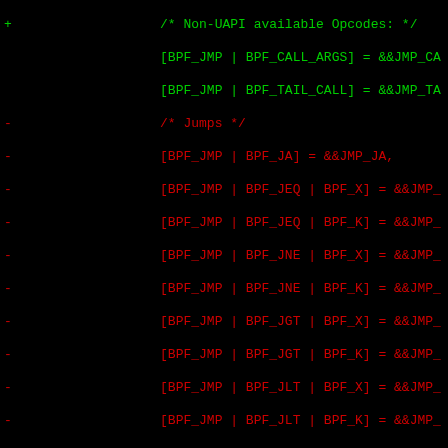[Figure (screenshot): Code diff showing BPF JMP opcode table entries in a C source file. Lines prefixed with '+' are in green (additions) and lines prefixed with '-' are in red (deletions). The code shows opcode dispatch table entries for BPF jump instructions including JA, JEQ, JNE, JGT, JLT, JGE, JLE, JSGT, JSLT, JSGE, JSLE, JSET, EXIT and non-UAPI available opcodes like CALL_ARGS and TAIL_CALL.]